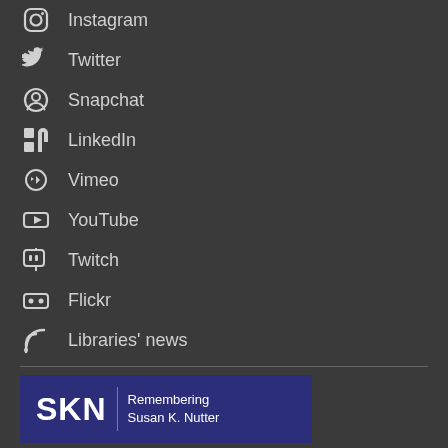Instagram
Twitter
Snapchat
LinkedIn
Vimeo
YouTube
Twitch
Flickr
Libraries' news
[Figure (logo): SKN - Remembering Susan K. Nutter banner with dark blue background, white text]
[Figure (logo): Giving to the Libraries banner with white background and red bold text]